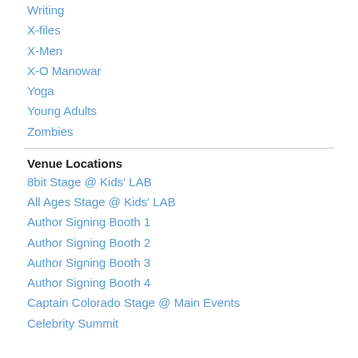Writing
X-files
X-Men
X-O Manowar
Yoga
Young Adults
Zombies
Venue Locations
8bit Stage @ Kids' LAB
All Ages Stage @ Kids' LAB
Author Signing Booth 1
Author Signing Booth 2
Author Signing Booth 3
Author Signing Booth 4
Captain Colorado Stage @ Main Events
Celebrity Summit